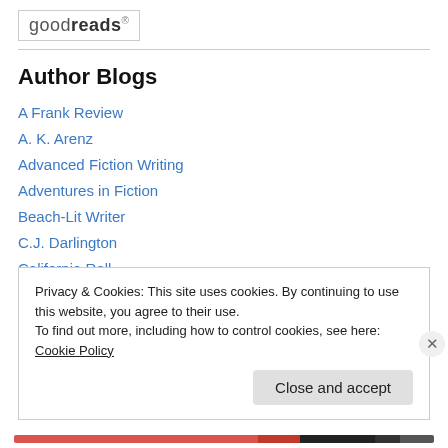goodreads
Author Blogs
A Frank Review
A. K. Arenz
Advanced Fiction Writing
Adventures in Fiction
Beach-Lit Writer
C.J. Darlington
California Roll
Privacy & Cookies: This site uses cookies. By continuing to use this website, you agree to their use. To find out more, including how to control cookies, see here: Cookie Policy
Close and accept